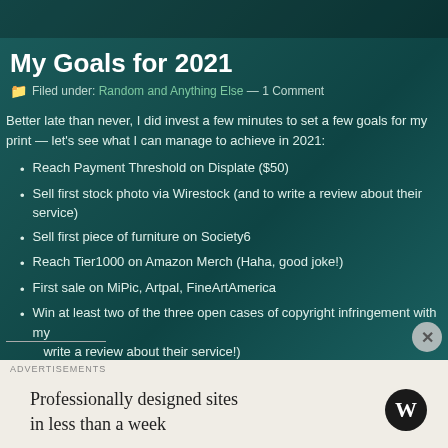My Goals for 2021
Filed under: Random and Anything Else — 1 Comment
Better late than never, I did invest a few minutes to set a few goals for my print — let's see what I can manage to achieve in 2021:
Reach Payment Threshold on Displate ($50)
Sell first stock photo via Wirestock (and to write a review about their service)
Sell first piece of furniture on Society6
Reach Tier1000 on Amazon Merch (Haha, good joke!)
First sale on MiPic, Artpal, FineArtAmerica
Win at least two of the three open cases of copyright infringement with my write a review about their service!)
Advertisements
Professionally designed sites in less than a week